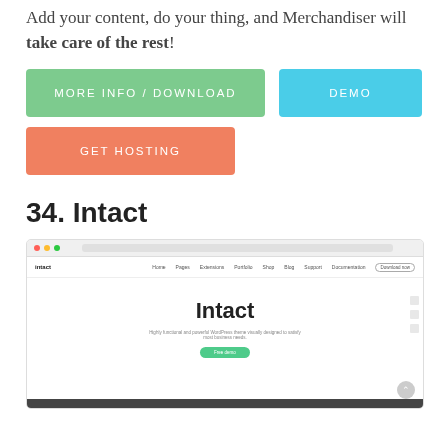Add your content, do your thing, and Merchandiser will take care of the rest!
[Figure (other): Three call-to-action buttons: 'MORE INFO / DOWNLOAD' (green), 'DEMO' (blue), 'GET HOSTING' (orange-red)]
34. Intact
[Figure (screenshot): Screenshot of the Intact WordPress theme website showing a browser window with navigation bar and hero section displaying 'Intact' title with tagline and green 'Free demo' button]